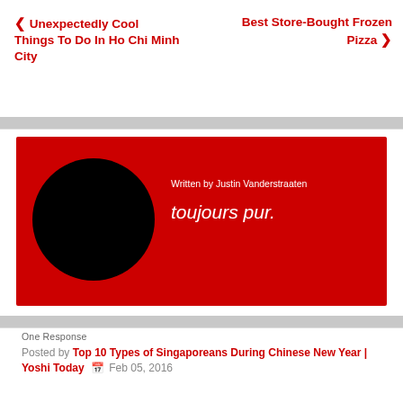< Unexpectedly Cool Things To Do In Ho Chi Minh City
Best Store-Bought Frozen Pizza >
[Figure (other): Author card with red background, black circular avatar, text 'Written by Justin Vanderstraaten' and tagline 'toujours pur.']
One Response
Posted by Top 10 Types of Singaporeans During Chinese New Year | Yoshi Today  Feb 05, 2016
[...] Top 10 Types Of Instagram Poses [...]
Comments are closed.